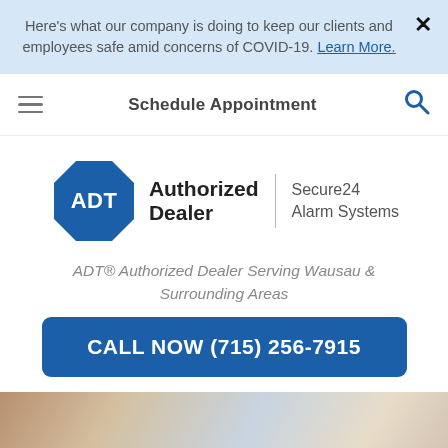Here's what our company is doing to keep our clients and employees safe amid concerns of COVID-19. Learn More.
Schedule Appointment
[Figure (logo): ADT Authorized Dealer logo with octagon shape and Secure24 Alarm Systems branding]
ADT® Authorized Dealer Serving Wausau & Surrounding Areas
CALL NOW (715) 256-7915
[Figure (photo): Blurred background photo showing people or a scene]